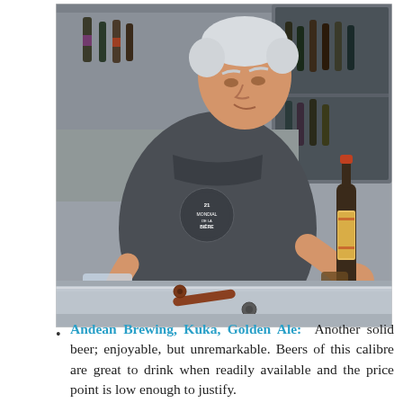[Figure (photo): An elderly man with white hair, wearing a dark grey t-shirt with 'Mondial de la Bière' logo, pouring a beer from a bottle into a glass mug at a bar counter. A bottle opener is visible on the stainless steel counter.]
Andean Brewing, Kuka, Golden Ale: Another solid beer; enjoyable, but unremarkable. Beers of this calibre are great to drink when readily available and the price point is low enough to justify.